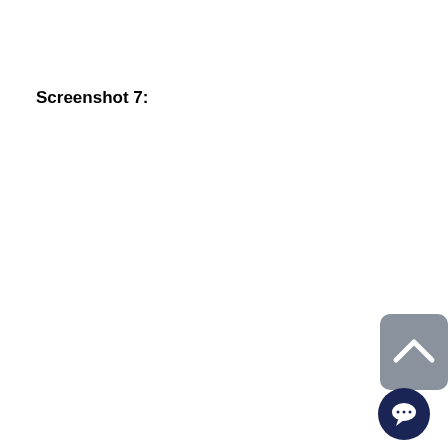Screenshot 7:
[Figure (screenshot): Gray rounded-rectangle button with a white upward-pointing chevron (scroll-to-top button) in the bottom-right area of the page, partially cropped at the right edge.]
[Figure (other): Dark navy circular chat/support button with a white speech bubble icon, positioned in the bottom-right corner of the page.]